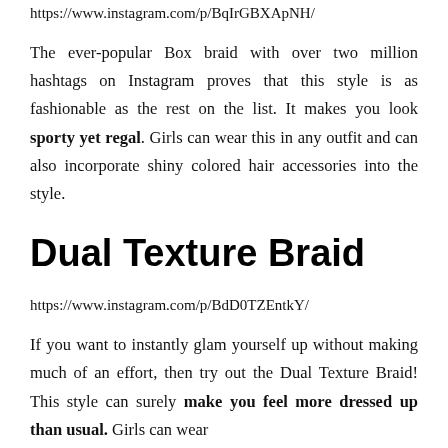https://www.instagram.com/p/BqIrGBXApNH/
The ever-popular Box braid with over two million hashtags on Instagram proves that this style is as fashionable as the rest on the list. It makes you look sporty yet regal. Girls can wear this in any outfit and can also incorporate shiny colored hair accessories into the style.
Dual Texture Braid
https://www.instagram.com/p/BdD0TZEntkY/
If you want to instantly glam yourself up without making much of an effort, then try out the Dual Texture Braid! This style can surely make you feel more dressed up than usual. Girls can wear